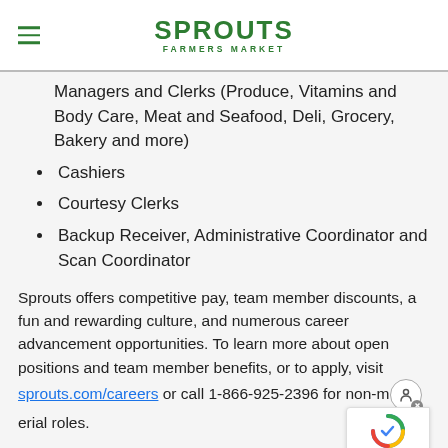SPROUTS FARMERS MARKET
Managers and Clerks (Produce, Vitamins and Body Care, Meat and Seafood, Deli, Grocery, Bakery and more)
Cashiers
Courtesy Clerks
Backup Receiver, Administrative Coordinator and Scan Coordinator
Sprouts offers competitive pay, team member discounts, a fun and rewarding culture, and numerous career advancement opportunities. To learn more about open positions and team member benefits, or to apply, visit sprouts.com/careers or call 1-866-925-2396 for non-managerial roles.
For a list of stores by region or to see other locations